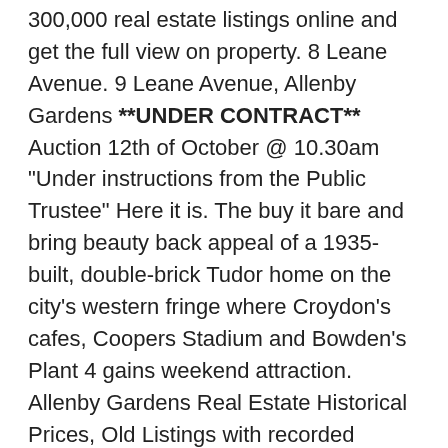300,000 real estate listings online and get the full view on property. 8 Leane Avenue. 9 Leane Avenue, Allenby Gardens **UNDER CONTRACT** Auction 12th of October @ 10.30am "Under instructions from the Public Trustee" Here it is. The buy it bare and bring beauty back appeal of a 1935-built, double-brick Tudor home on the city's western fringe where Croydon's cafes, Coopers Stadium and Bowden's Plant 4 gains weekend attraction. Allenby Gardens Real Estate Historical Prices, Old Listings with recorded property information Leased shop & retail at 2 Leane Avenue, Allenby Gardens, SA 5009.
1. Kvinnan på tåget bio
2. Stockholmsbörsen indexfond